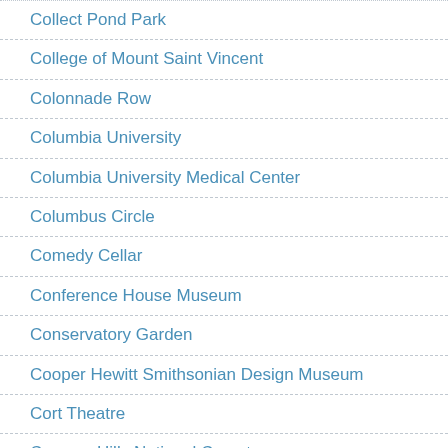Collect Pond Park
College of Mount Saint Vincent
Colonnade Row
Columbia University
Columbia University Medical Center
Columbus Circle
Comedy Cellar
Conference House Museum
Conservatory Garden
Cooper Hewitt Smithsonian Design Museum
Cort Theatre
Cypress Hills National Cemetery